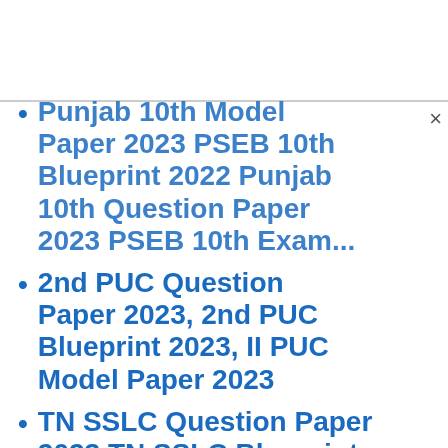Punjab 10th Model Paper 2023 PSEB 10th Blueprint 2022 Punjab 10th Question Paper 2023 PSEB 10th Exam...
2nd PUC Question Paper 2023, 2nd PUC Blueprint 2023, II PUC Model Paper 2023
TN SSLC Question Paper 2023 TN SSLC Blueprint 2023 TN 10th Sample Paper 2023...